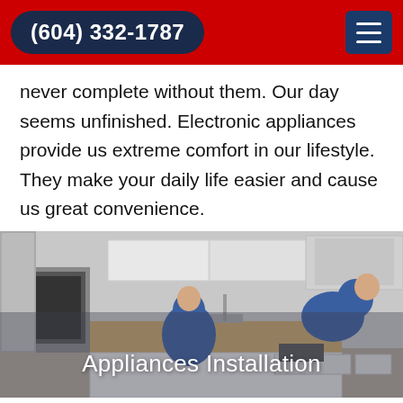(604) 332-1787
never complete without them. Our day seems unfinished. Electronic appliances provide us extreme comfort in our lifestyle. They make your daily life easier and cause us great convenience.
[Figure (photo): Two technicians in blue uniforms working in a kitchen installing appliances. Text overlay reads 'Appliances Installation'.]
Anova Commercial Appliances Installation Burnaby
Burnaby Appliance Repair Experts has been